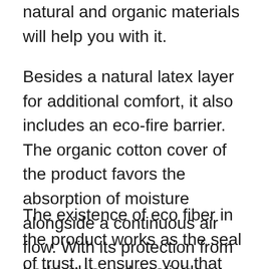natural and organic materials will help you with it.
Besides a natural latex layer for additional comfort, it also includes an eco-fire barrier. The organic cotton cover of the product favors the absorption of moisture alongside a continuous air flow. With its protection from herbicides and pesticides, you can delight in a sound sleep by putting aside all your concerns.
The existence of eco fiber in the product works as the seal of trust. It ensures you that the item does not include any damaging chemicals. Due to the natural latex in it, you can lie down on it with no issue. Its latex will